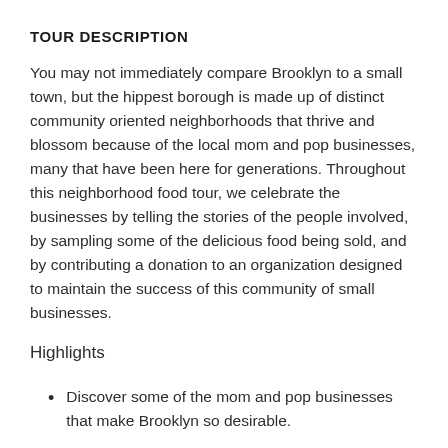TOUR DESCRIPTION
You may not immediately compare Brooklyn to a small town, but the hippest borough is made up of distinct community oriented neighborhoods that thrive and blossom because of the local mom and pop businesses, many that have been here for generations. Throughout this neighborhood food tour, we celebrate the businesses by telling the stories of the people involved, by sampling some of the delicious food being sold, and by contributing a donation to an organization designed to maintain the success of this community of small businesses.
Highlights
Discover some of the mom and pop businesses that make Brooklyn so desirable.